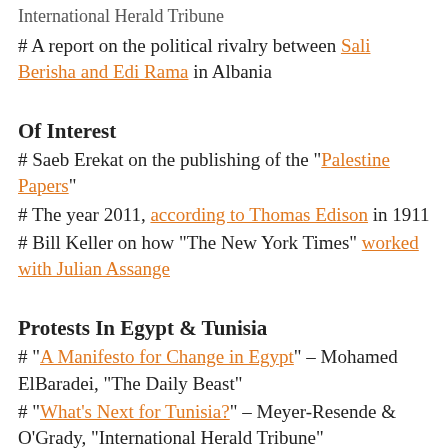International Herald Tribune
# A report on the political rivalry between Sali Berisha and Edi Rama in Albania
Of Interest
# Saeb Erekat on the publishing of the "Palestine Papers"
# The year 2011, according to Thomas Edison in 1911
# Bill Keller on how "The New York Times" worked with Julian Assange
Protests In Egypt & Tunisia
# "A Manifesto for Change in Egypt" – Mohamed ElBaradei, "The Daily Beast"
# "What's Next for Tunisia?" – Meyer-Resende & O'Grady, "International Herald Tribune"
# "Will The Arab Revolutions Spread?" – Marc Lynch, "Foreign Policy"